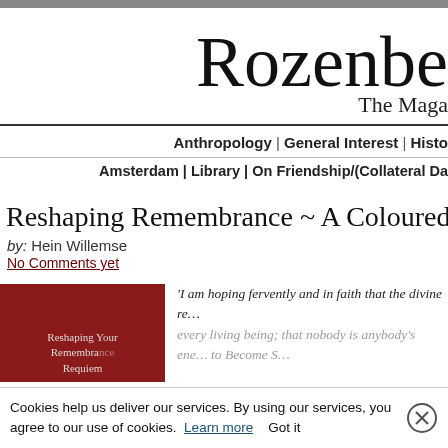Rozenberg – The Magazine
Anthropology | General Interest | History…
Amsterdam | Library | On Friendship/(Collateral Da…
Reshaping Remembrance ~ A Coloured Expert's Co…
by: Hein Willemse
No Comments yet
[Figure (photo): Book cover in dark red/maroon color with text about Reshaping Remembrance Requiem]
'I am hoping fervently and in faith that the divine re… every living being; that nobody is anybody's ene… to Become S… Requiem
Cookies help us deliver our services. By using our services, you agree to our use of cookies. Learn more Got it